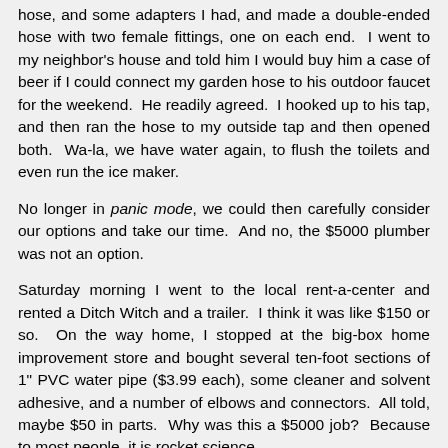hose, and some adapters I had, and made a double-ended hose with two female fittings, one on each end.  I went to my neighbor's house and told him I would buy him a case of beer if I could connect my garden hose to his outdoor faucet for the weekend.  He readily agreed.  I hooked up to his tap, and then ran the hose to my outside tap and then opened both.  Wa-la, we have water again, to flush the toilets and even run the ice maker.
No longer in panic mode, we could then carefully consider our options and take our time.  And no, the $5000 plumber was not an option.
Saturday morning I went to the local rent-a-center and rented a Ditch Witch and a trailer.  I think it was like $150 or so.  On the way home, I stopped at the big-box home improvement store and bought several ten-foot sections of 1" PVC water pipe ($3.99 each), some cleaner and solvent adhesive, and a number of elbows and connectors.  All told, maybe $50 in parts.  Why was this a $5000 job?  Because to most people, it is rocket science.